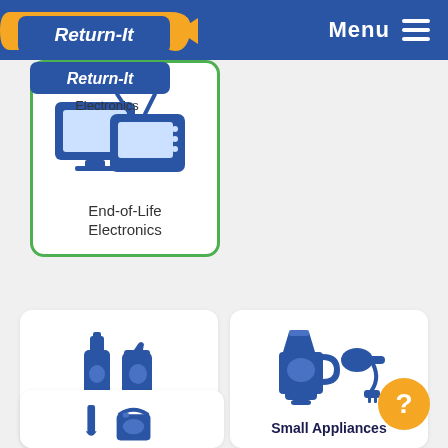[Figure (logo): Return-It logo with arrow in blue and yellow, shown twice (header and card)]
Menu
[Figure (illustration): Card with Return-It Electronics logo and TV/monitor icons, labeled End-of-Life Electronics. Green border.]
End-of-Life Electronics
[Figure (illustration): Card with beer bottle and can icons, labeled Beer Containers]
Beer Containers
[Figure (illustration): Card with blender and power drill icons, labeled Small Appliances]
Small Appliances
[Figure (illustration): Partial card with paint brush and paint bucket icons, partially visible at bottom]
[Figure (illustration): Orange circle help button with question mark]